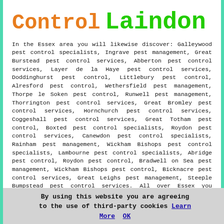Control Laindon
In the Essex area you will likewise discover: Galleywood pest control specialists, Ingrave pest management, Great Burstead pest control services, Abberton pest control services, Layer de la Haye pest control services, Doddinghurst pest control, Littlebury pest control, Alresford pest control, Wethersfield pest management, Thorpe le Soken pest control, Runwell pest management, Thorrington pest control services, Great Bromley pest control services, Hornchurch pest control services, Coggeshall pest control services, Great Totham pest control, Boxted pest control specialists, Roydon pest control services, Canewdon pest control specialists, Rainham pest management, Wickham Bishops pest control specialists, Lambourne pest control specialists, Abridge pest control, Roydon pest control, Bradwell on Sea pest management, Wickham Bishops pest control, Bicknacre pest control services, Great Leighs pest management, Steeple Bumpstead pest control services. All over Essex you should be able to track down pest control specialists who will
By using this website you are agreeing to the use of third-party cookies Learn More  OK